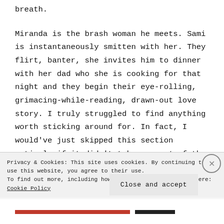breath.
Miranda is the brash woman he meets. Sami is instantaneously smitten with her. They flirt, banter, she invites him to dinner with her dad who she is cooking for that night and they begin their eye-rolling, grimacing-while-reading, drawn-out love story. I truly struggled to find anything worth sticking around for. In fact, I would've just skipped this section entirely if it didn't take up most of the
Privacy & Cookies: This site uses cookies. By continuing to use this website, you agree to their use.
To find out more, including how to control cookies, see here: Cookie Policy
Close and accept